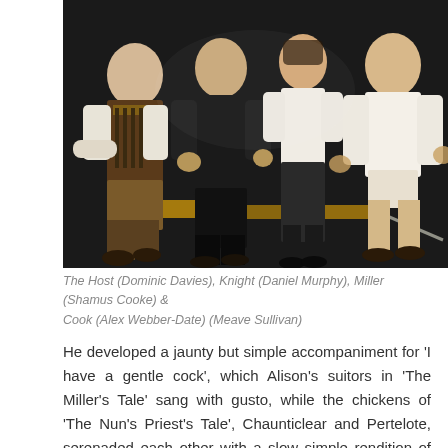[Figure (photo): Theatre production photograph showing four performers in period costume (medieval/Chaucerian style) seated on stage. From left: a man in a vest with ammunition belt, a man in dark clothing, a woman in dark tights, and a man in a white shirt with short pants.]
The Host (Dominic Davies), Knight (Daniel Murphy), Miller (Shamus Cooke) & Cook (Alex Webber-Date) (Meave Sullivan)
He developed a jaunty but simple accompaniment for 'I have a gentle cock', which Alison's suitors in 'The Miller's Tale' sang with gusto, while the chickens of 'The Nun's Priest's Tale', Chaunticlear and Pertelote, serenaded each other with a slow simple rendition of 'My lief is faren in londe', which we recycled with a faster tempo for the chase scene that closes the tale.